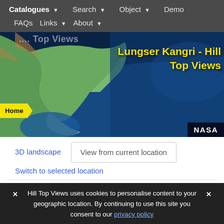Catalogues ▾   Search ▾   Object ▾   Demo   FAQs   Links ▾   About ▾
[Figure (screenshot): NASA globe/earth image showing North America with yellow title 'Lungser Kangri - Hill Top Views', a yellow Home breadcrumb badge, and NASA attribution badge]
3D landscape   View from current location
Switch to selected location
The view from Lungser Kangri
✕  Hill Top Views uses cookies to personalise content to your geographic location. By continuing to use this site you consent to our privacy policy  ✕